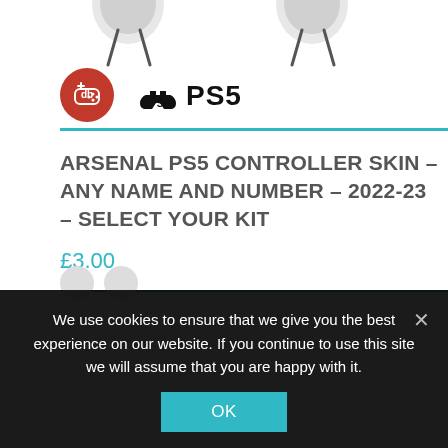[Figure (photo): Two PS5 DualSense controller buds/headphones partially visible at the top of the page against a white background]
[Figure (logo): Round red brand logo (controller/gamepad icon in white) next to PS5 PlayStation 5 logo in black]
ARSENAL PS5 CONTROLLER SKIN – ANY NAME AND NUMBER – 2022-23 – SELECT YOUR KIT
£3.00
We use cookies to ensure that we give you the best experience on our website. If you continue to use this site we will assume that you are happy with it.